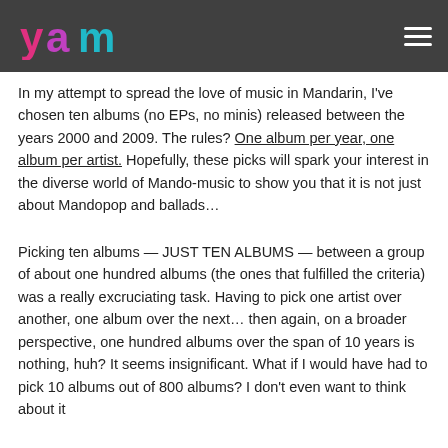yam (logo) | hamburger menu
In my attempt to spread the love of music in Mandarin, I've chosen ten albums (no EPs, no minis) released between the years 2000 and 2009. The rules? One album per year, one album per artist. Hopefully, these picks will spark your interest in the diverse world of Mando-music to show you that it is not just about Mandopop and ballads...
Picking ten albums — JUST TEN ALBUMS — between a group of about one hundred albums (the ones that fulfilled the criteria) was a really excruciating task. Having to pick one artist over another, one album over the next... then again, on a broader perspective, one hundred albums over the span of 10 years is nothing, huh? It seems insignificant. What if I would have had to pick 10 albums out of 800 albums? I don't even want to think about it